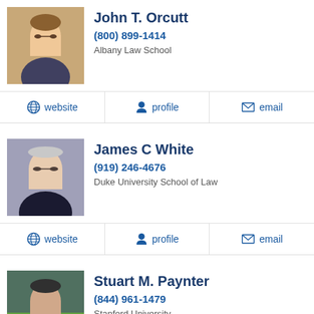[Figure (photo): Headshot photo of John T. Orcutt, a man with glasses]
John T. Orcutt
(800) 899-1414
Albany Law School
website
profile
email
[Figure (photo): Headshot photo of James C White, a bald man with glasses]
James C White
(919) 246-4676
Duke University School of Law
website
profile
email
[Figure (photo): Headshot photo of Stuart M. Paynter]
Stuart M. Paynter
(844) 961-1479
Stanford University